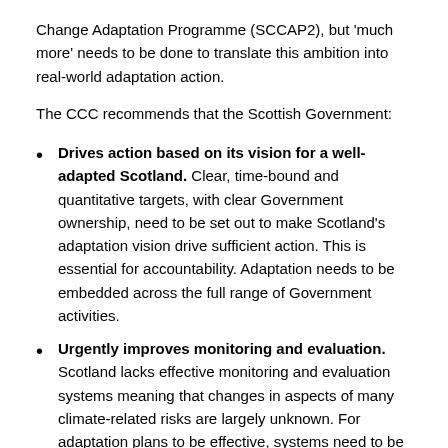Change Adaptation Programme (SCCAP2), but 'much more' needs to be done to translate this ambition into real-world adaptation action.
The CCC recommends that the Scottish Government:
Drives action based on its vision for a well-adapted Scotland. Clear, time-bound and quantitative targets, with clear Government ownership, need to be set out to make Scotland's adaptation vision drive sufficient action. This is essential for accountability. Adaptation needs to be embedded across the full range of Government activities.
Urgently improves monitoring and evaluation. Scotland lacks effective monitoring and evaluation systems meaning that changes in aspects of many climate-related risks are largely unknown. For adaptation plans to be effective, systems need to be created and implemented without